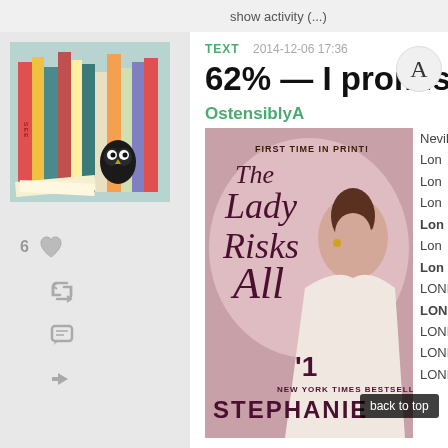show activity (...)
[Figure (photo): Stack of books with owl figurine acting as bookend, colorful spines visible]
6 likes
TEXT  2014-12-06 17:36
62% — I promise you w
OstensiblyA
[Figure (photo): Book cover: The Lady Risks All by Stephanie Laurens, #1 New York Times Bestseller, First Time in Print!, showing a woman in a white dress]
Neville Roscoe
Lon
Lon
Lon
Lon
Lon
Lon
LOND
LOND
LOND
LOND
LOND
back to top